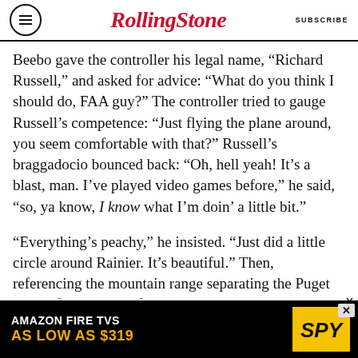RollingStone | SUBSCRIBE
Beebo gave the controller his legal name, “Richard Russell,” and asked for advice: “What do you think I should do, FAA guy?” The controller tried to gauge Russell’s competence: “Just flying the plane around, you seem comfortable with that?” Russell’s braggadocio bounced back: “Oh, hell yeah! It’s a blast, man. I’ve played video games before,” he said, “so, ya know, I know what I’m doin’ a little bit.”
“Everything’s peachy,” he insisted. “Just did a little circle around Rainier. It’s beautiful.” Then, referencing the mountain range separating the Puget Sound from the Pacific, he added: “I think I
[Figure (screenshot): Amazon Fire TVs advertisement banner: black background, white text 'AMAZON FIRE TVS AS LOW AS $319' in orange, SPY logo in yellow/black on right side]